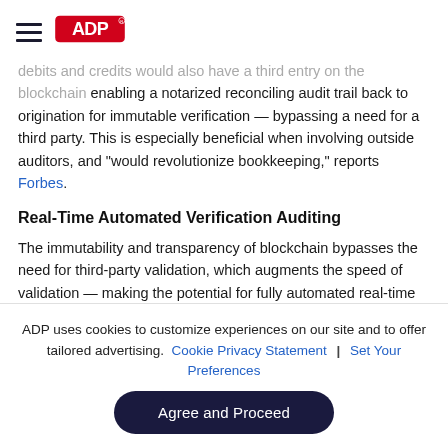ADP logo and navigation hamburger menu
debits and credits would also have a third entry on the blockchain enabling a notarized reconciling audit trail back to origination for immutable verification — bypassing a need for a third party. This is especially beneficial when involving outside auditors, and "would revolutionize bookkeeping," reports Forbes.
Real-Time Automated Verification Auditing
The immutability and transparency of blockchain bypasses the need for third-party validation, which augments the speed of validation — making the potential for fully automated real-time audits a reality, reports Forbes. This would be a boon for publicly traded organizations...
ADP uses cookies to customize experiences on our site and to offer tailored advertising. Cookie Privacy Statement | Set Your Preferences
Agree and Proceed